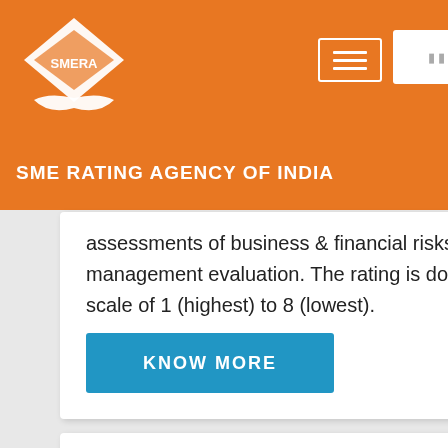[Figure (logo): SMERA - SME Rating Agency of India logo with white diamond/house shape on orange background]
SME RATING AGENCY OF INDIA
assessments of business & financial risks and management evaluation. The rating is done on a scale of 1 (highest) to 8 (lowest).
KNOW MORE
[Figure (illustration): Decorative orange watercolor/splash background element in lower right of content card]